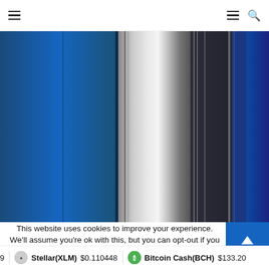Navigation header with hamburger menu and search icon
[Figure (photo): Abstract vertical stripe image with blue, silver/gray and dark charcoal color bands]
This website uses cookies to improve your experience. We'll assume you're ok with this, but you can opt-out if you w
Stellar(XLM) $0.110448  Bitcoin Cash(BCH) $133.20